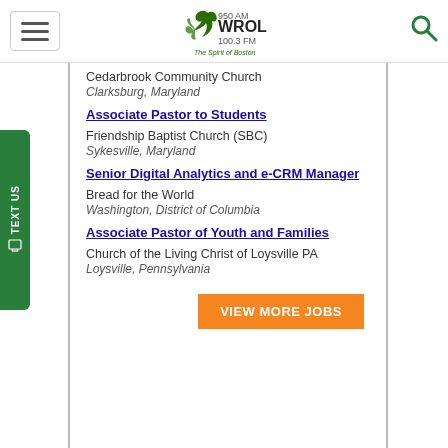950 AM WROL 100.3 FM The Spirit of Boston
Cedarbrook Community Church
Clarksburg, Maryland
Associate Pastor to Students
Friendship Baptist Church (SBC)
Sykesville, Maryland
Senior Digital Analytics and e-CRM Manager
Bread for the World
Washington, District of Columbia
Associate Pastor of Youth and Families
Church of the Living Christ of Loysville PA
Loysville, Pennsylvania
VIEW MORE JOBS